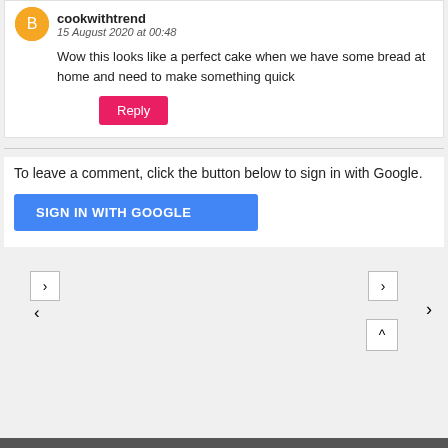cookwithtrend
15 August 2020 at 00:48
Wow this looks like a perfect cake when we have some bread at home and need to make something quick
Reply
To leave a comment, click the button below to sign in with Google.
SIGN IN WITH GOOGLE